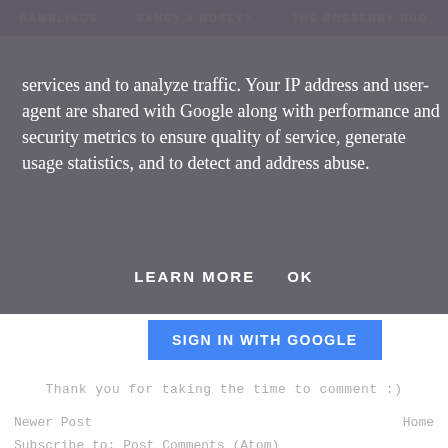RAMBLINGS   FANCY A NOSEY?   THE ROSSENBY DUO
services and to analyze traffic. Your IP address and user-agent are shared with Google along with performance and security metrics to ensure quality of service, generate usage statistics, and to detect and address abuse.
LEARN MORE    OK
SIGN IN WITH GOOGLE
Thank you for taking the time to comment :)
Newer Post    Home
Subscribe to: Post Comments (Atom)